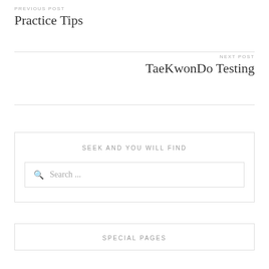PREVIOUS POST
Practice Tips
NEXT POST
TaeKwonDo Testing
SEEK AND YOU WILL FIND
Search ...
SPECIAL PAGES